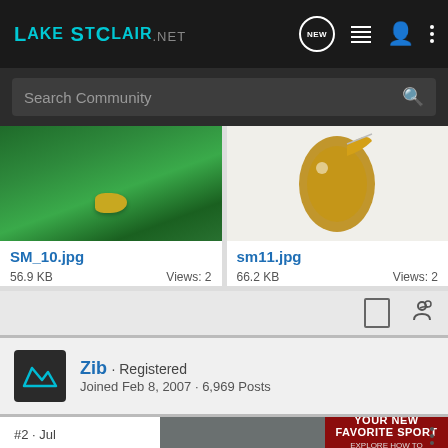LakeSt Clair .NET
Search Community
[Figure (photo): Fishing lure in green water - SM_10.jpg]
SM_10.jpg
56.9 KB   Views: 2
[Figure (photo): Fish with lure - sm11.jpg]
sm11.jpg
66.2 KB   Views: 2
Zib · Registered
Joined Feb 8, 2007 · 6,969 Posts
#2 · Jul
[Figure (photo): Advertisement banner: YOUR NEW FAVORITE SPORT - EXPLORE HOW TO RESPONSIBLY PARTICIPATE IN THE SHOOTING SPORTS. START HERE!]